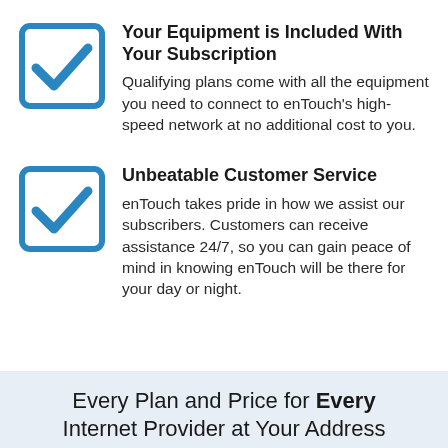Your Equipment is Included With Your Subscription
Qualifying plans come with all the equipment you need to connect to enTouch's high-speed network at no additional cost to you.
Unbeatable Customer Service
enTouch takes pride in how we assist our subscribers. Customers can receive assistance 24/7, so you can gain peace of mind in knowing enTouch will be there for your day or night.
Every Plan and Price for Every Internet Provider at Your Address